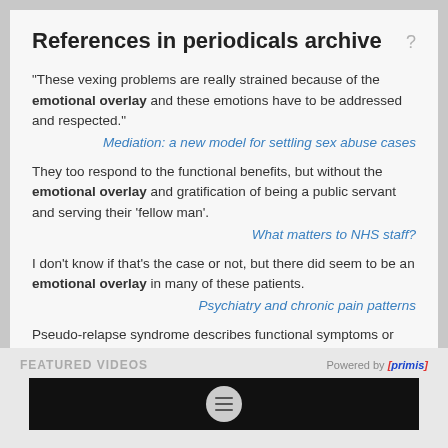References in periodicals archive
"These vexing problems are really strained because of the emotional overlay and these emotions have to be addressed and respected."
Mediation: a new model for settling sex abuse cases
They too respond to the functional benefits, but without the emotional overlay and gratification of being a public servant and serving their 'fellow man'.
What matters to NHS staff?
I don't know if that's the case or not, but there did seem to be an emotional overlay in many of these patients.
Psychiatry and chronic pain patterns
Pseudo-relapse syndrome describes functional symptoms or emotional
FEATURED VIDEOS
Powered by [primis]